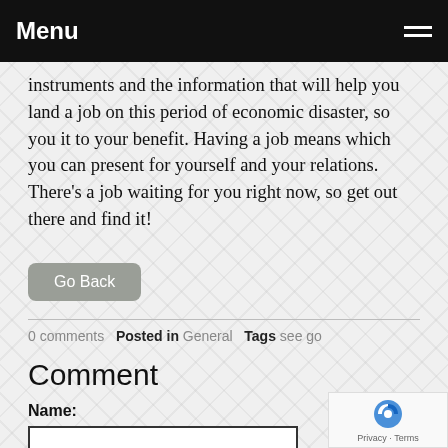Menu
instruments and the information that will help you land a job on this period of economic disaster, so you it to your benefit. Having a job means which you can present for yourself and your relations. There's a job waiting for you right now, so get out there and find it!
Go Back
0 comments  Posted in General  Tags see go
Comment
Name:
E-mail: